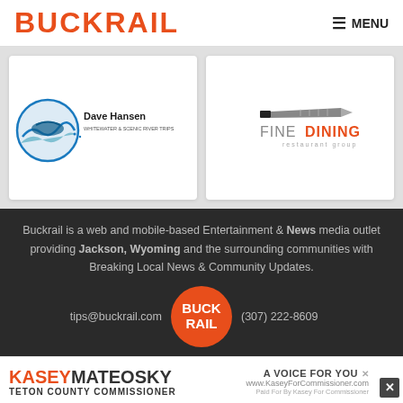BUCKRAIL — MENU
[Figure (logo): Dave Hansen Whitewater & Scenic River Trips logo with blue wave/kayak circular emblem]
[Figure (logo): Fine Dining restaurant group logo with knife graphic above text]
Buckrail is a web and mobile-based Entertainment & News media outlet providing Jackson, Wyoming and the surrounding communities with Breaking Local News & Community Updates.
tips@buckrail.com    (307) 222-8609
[Figure (logo): Buckrail orange circle logo]
[Figure (logo): Kasey Mateosky Teton County Commissioner ad banner]
KASEYMATEOSKY — A VOICE FOR YOU
TETON COUNTY COMMISSIONER — www.KaseyForCommissioner.com
Paid For By Kasey For Commissioner